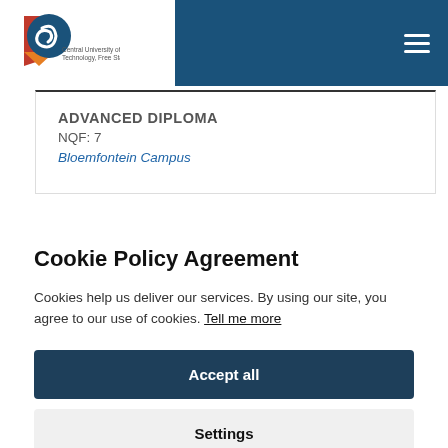[Figure (logo): Central University of Technology, Free State logo with circular blue globe icon and red/yellow shield motif]
ADVANCED DIPLOMA
NQF: 7
Bloemfontein Campus
Cookie Policy Agreement
Cookies help us deliver our services. By using our site, you agree to our use of cookies. Tell me more
Accept all
Settings